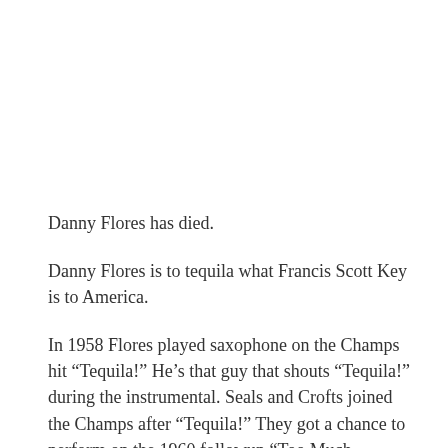Danny Flores has died.
Danny Flores is to tequila what Francis Scott Key is to America.
In 1958 Flores played saxophone on the Champs hit “Tequila!” He’s that guy that shouts “Tequila!” during the instrumental. Seals and Crofts joined the Champs after “Tequila!” They got a chance to perform on the 1960 followup “Too Much Tequila!” Flores died